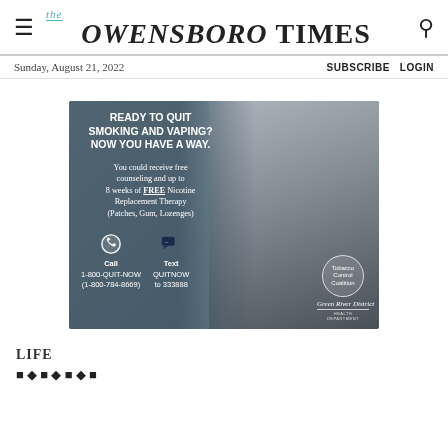THE OWENSBORO TIMES
Sunday, August 21, 2022   SUBSCRIBE  LOGIN
[Figure (photo): Advertisement for quitting smoking and vaping. Shows a man talking on a phone against a grey background. Text reads: READY TO QUIT SMOKING AND VAPING? NOW YOU HAVE A WAY. You could receive free counseling and up to 8 weeks of FREE Nicotine Replacement Therapy (Patches, Gum, Lozenges). Call 1-800-QUIT-NOW (1-800-784-8669). Text QUITNOW to 333888. Green River District Health Department logo.]
LIFE